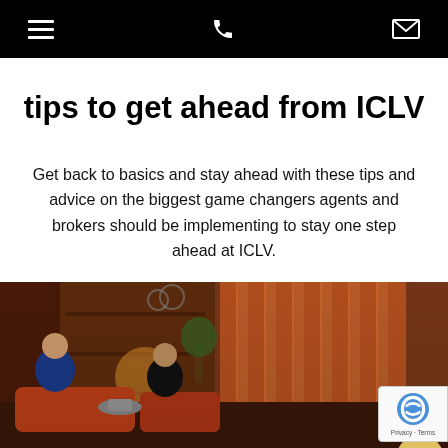Navigation bar with hamburger menu, phone icon, and mail icon
tips to get ahead from ICLV
Get back to basics and stay ahead with these tips and advice on the biggest game changers agents and brokers should be implementing to stay one step ahead at ICLV.
Read more »
[Figure (photo): A television talk show set with two people sitting on orange sofas in a warmly lit studio with wooden shelving and curtains. A woman in a blue dress and a man in a dark outfit are visible.]